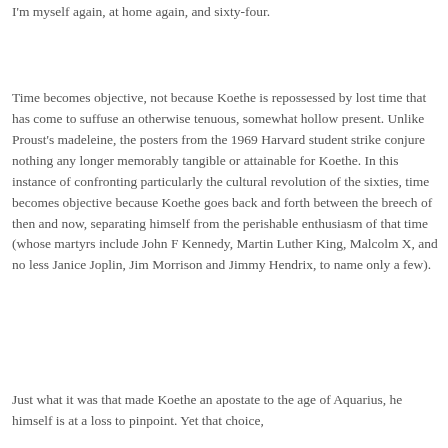I'm myself again, at home again, and sixty-four.
Time becomes objective, not because Koethe is repossessed by lost time that has come to suffuse an otherwise tenuous, somewhat hollow present. Unlike Proust's madeleine, the posters from the 1969 Harvard student strike conjure nothing any longer memorably tangible or attainable for Koethe. In this instance of confronting particularly the cultural revolution of the sixties, time becomes objective because Koethe goes back and forth between the breech of then and now, separating himself from the perishable enthusiasm of that time (whose martyrs include John F Kennedy, Martin Luther King, Malcolm X, and no less Janice Joplin, Jim Morrison and Jimmy Hendrix, to name only a few).
Just what it was that made Koethe an apostate to the age of Aquarius, he himself is at a loss to pinpoint. Yet that choice,